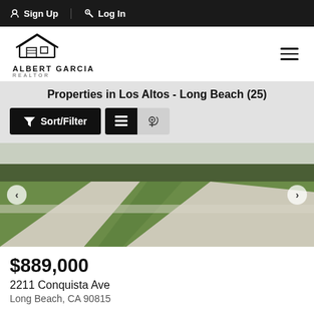Sign Up  Log In
[Figure (logo): Albert Garcia Realtor logo — house outline above text ALBERT GARCIA REALTOR]
Properties in Los Altos - Long Beach (25)
[Figure (photo): Exterior photo of a property showing a lawn with concrete driveway/path, green grass, and trees in background]
$889,000
2211 Conquista Ave
Long Beach, CA 90815